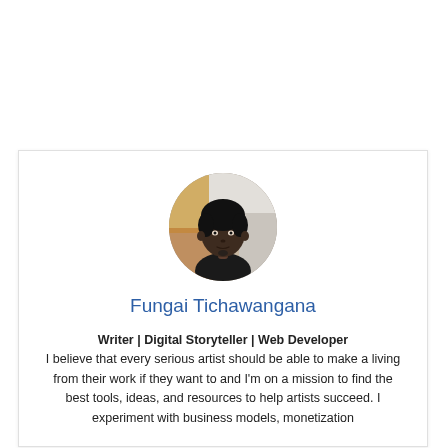[Figure (photo): Circular profile photo of a man against a colorful background]
Fungai Tichawangana
Writer | Digital Storyteller | Web Developer
I believe that every serious artist should be able to make a living from their work if they want to and I'm on a mission to find the best tools, ideas, and resources to help artists succeed. I experiment with business models, monetization